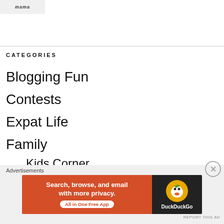[Figure (logo): Small logo with text in top left corner]
CATEGORIES
Blogging Fun
Contests
Expat Life
Family
Kids Corner
LittleMan
LittleMiss C
[Figure (screenshot): DuckDuckGo advertisement banner reading 'Search, browse, and email with more privacy. All in One Free App' with DuckDuckGo logo on dark right panel]
Advertisements
REPORT THIS AD